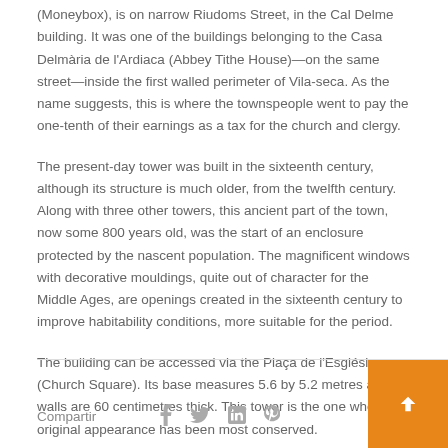(Moneybox), is on narrow Riudoms Street, in the Cal Delme building. It was one of the buildings belonging to the Casa Delmària de l'Ardiaca (Abbey Tithe House)—on the same street—inside the first walled perimeter of Vila-seca. As the name suggests, this is where the townspeople went to pay the one-tenth of their earnings as a tax for the church and clergy.
The present-day tower was built in the sixteenth century, although its structure is much older, from the twelfth century. Along with three other towers, this ancient part of the town, now some 800 years old, was the start of an enclosure protected by the nascent population. The magnificent windows with decorative mouldings, quite out of character for the Middle Ages, are openings created in the sixteenth century to improve habitability conditions, more suitable for the period.
The building can be accessed via the Plaça de l'Església (Church Square). Its base measures 5.6 by 5.2 metres and its walls are 60 centimetres thick. This tower is the one whose original appearance has been most conserved.
Compartir